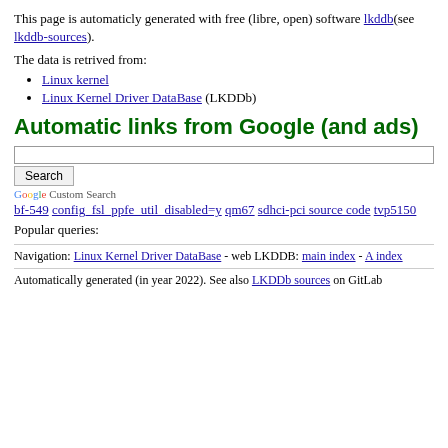This page is automaticly generated with free (libre, open) software lkddb(see lkddb-sources).
The data is retrived from:
Linux kernel
Linux Kernel Driver DataBase (LKDDb)
Automatic links from Google (and ads)
Search [input box and button]
Google Custom Search
bf-549 config_fsl_ppfe_util_disabled=y qm67 sdhci-pci source code tvp5150
Popular queries:
Navigation: Linux Kernel Driver DataBase - web LKDDB: main index - A index
Automatically generated (in year 2022). See also LKDDb sources on GitLab